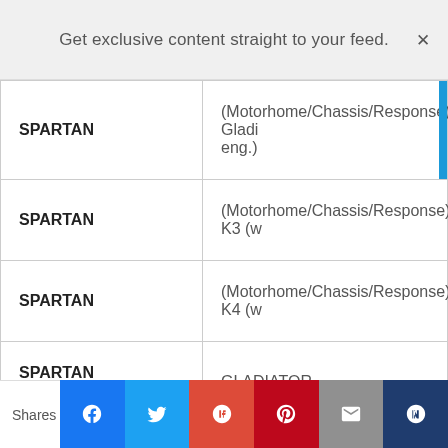Get exclusive content straight to your feed.
| Make | Model/Description |
| --- | --- |
| SPARTAN | (Motorhome/Chassis/Response); Gladi eng.) |
| SPARTAN | (Motorhome/Chassis/Response); K3 (w |
| SPARTAN | (Motorhome/Chassis/Response); K4 (w |
| SPARTAN MOTORS | GLADIATOR |
Shares | Facebook | Twitter | Google+ | Pinterest | Email | Kn